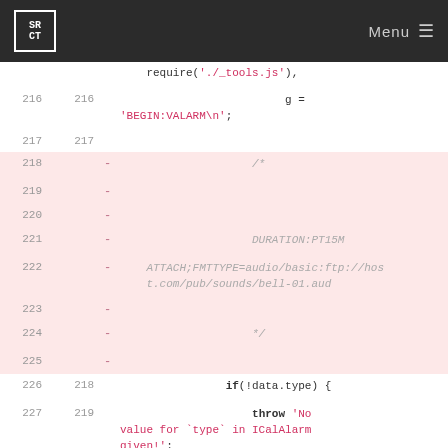SRCT Menu
Code diff view showing lines 216-228 with deleted lines 218-225 highlighted in pink. Code includes require('./_tools.js'), g = 'BEGIN:VALARM\n', a deleted comment block with DURATION:PT15M and ATTACH;FMTTYPE=audio/basic:ftp://host.com/pub/sounds/bell-01.aud, followed by if(!data.type) { throw 'No value for `type` in ICalAlarm given!'; }